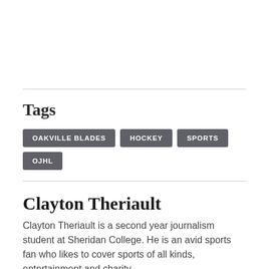Tags
OAKVILLE BLADES
HOCKEY
SPORTS
OJHL
Clayton Theriault
Clayton Theriault is a second year journalism student at Sheridan College. He is an avid sports fan who likes to cover sports of all kinds, entertainment and charity